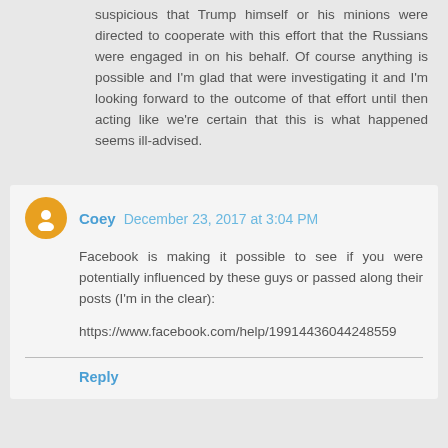suspicious that Trump himself or his minions were directed to cooperate with this effort that the Russians were engaged in on his behalf. Of course anything is possible and I'm glad that were investigating it and I'm looking forward to the outcome of that effort until then acting like we're certain that this is what happened seems ill-advised.
Coey  December 23, 2017 at 3:04 PM
Facebook is making it possible to see if you were potentially influenced by these guys or passed along their posts (I'm in the clear):
https://www.facebook.com/help/199144360442485 9
Reply